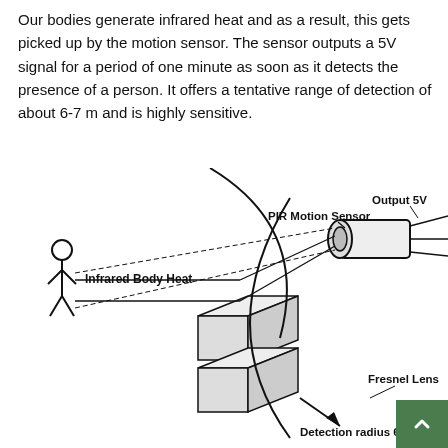Our bodies generate infrared heat and as a result, this gets picked up by the motion sensor. The sensor outputs a 5V signal for a period of one minute as soon as it detects the presence of a person. It offers a tentative range of detection of about 6-7 m and is highly sensitive.
[Figure (schematic): Diagram of a PIR Motion Sensor system showing a stick figure person emitting Infrared Body Heat, rays passing through a Fresnel Lens element, reaching a PIR Motion Sensor (cylindrical) that outputs a 5V signal. Labels: 'Output 5V', 'PIR Motion Sensor', 'Infrared Body Heat', 'Fresnel Lens', 'Detection radius 6-7m'. A curved arc shows the detection radius and a vertical curved line represents the field behind the lens.]